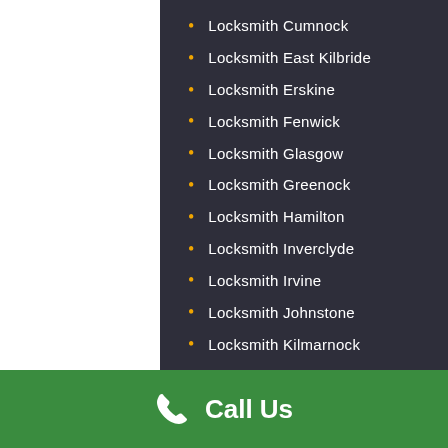Locksmith Cumnock
Locksmith East Kilbride
Locksmith Erskine
Locksmith Fenwick
Locksmith Glasgow
Locksmith Greenock
Locksmith Hamilton
Locksmith Inverclyde
Locksmith Irvine
Locksmith Johnstone
Locksmith Kilmarnock
Call Us